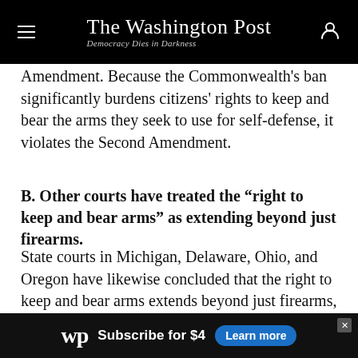The Washington Post — Democracy Dies in Darkness
Amendment. Because the Commonwealth's ban significantly burdens citizens' rights to keep and bear the arms they seek to use for self-defense, it violates the Second Amendment.
B. Other courts have treated the “right to keep and bear arms” as extending beyond just firearms.
State courts in Michigan, Delaware, Ohio, and Oregon have likewise concluded that the right to keep and bear arms extends beyond just firearms, protecting stun guns, steak knives, and switch blades. People v. Yanna, 824 N.W.2d 241, 246 (Mich. Ct. App. 2012) (holding
[Figure (other): Washington Post subscription advertisement banner: 'wp Subscribe for $4 Learn more']